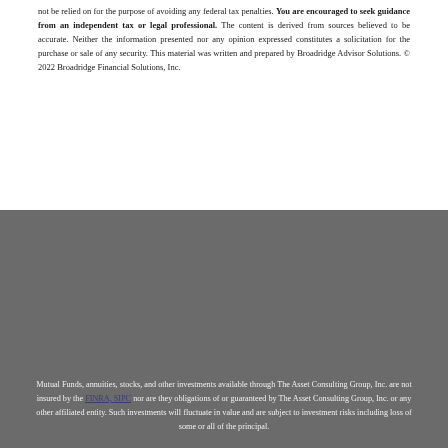not be relied on for the purpose of avoiding any federal tax penalties. You are encouraged to seek guidance from an independent tax or legal professional. The content is derived from sources believed to be accurate. Neither the information presented nor any opinion expressed constitutes a solicitation for the purchase or sale of any security. This material was written and prepared by Broadridge Advisor Solutions. © 2022 Broadridge Financial Solutions, Inc.
Mutual Funds, annuities, stocks, and other investments available through The Asset Consulting Group, Inc. are not insured by the FINRA, SIPC nor are they obligations of or guaranteed by The Asset Consulting Group, Inc. or any other affiliated entity. Such investments will fluctuate in value and are subject to investment risks including loss of some or all of the principal.